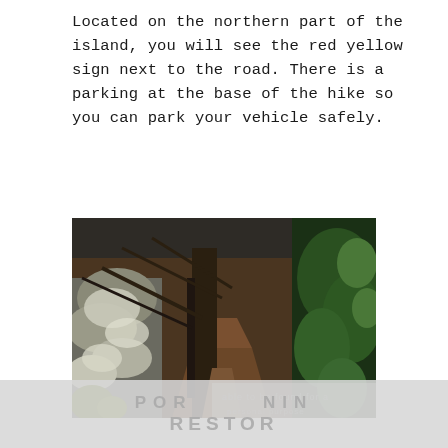Located on the northern part of the island, you will see the red yellow sign next to the road. There is a parking at the base of the hike so you can park your vehicle safely.
[Figure (photo): A forest hiking trail surrounded by trees, some covered in white lichen/moss on the left, green conifer trees on the right, with a narrow dirt path winding through the middle. Partially obscured watermark text visible at the bottom right of the image.]